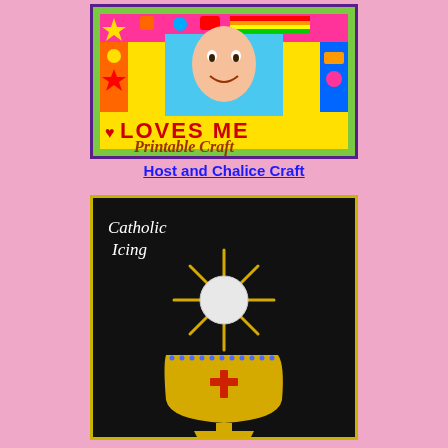[Figure (photo): A colorful craft frame with a child's photo in the center, decorated with bright colors, stars, hearts, and the words 'LOVES ME'. Below the frame the script text reads 'Printable Craft'.]
Host and Chalice Craft
[Figure (photo): A craft on black paper showing a golden yellow chalice with a red cross, topped by a white circular host with golden rays emanating from it. In the upper left it reads 'Catholic Icing' in white script text.]